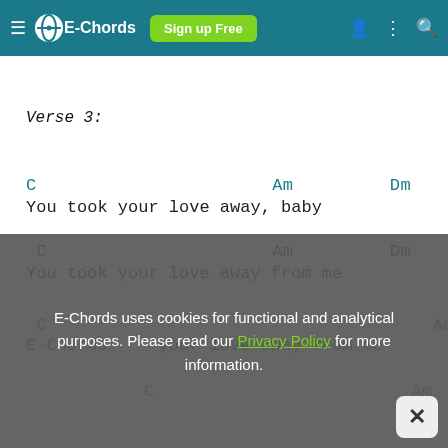E-Chords | Sign up Free
Verse 3:
C                    Am         Dm    G
You took your love away, baby
C                    Am         Dm    G
You took your love away from me
C                              E-Chords... Am         C
E-Chords uses cookies for functional and analytical purposes. Please read our Privacy Policy for more information.